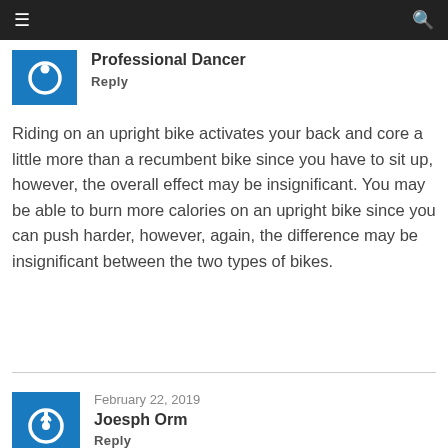≡  [search icon]
Professional Dancer
Reply
Riding on an upright bike activates your back and core a little more than a recumbent bike since you have to sit up, however, the overall effect may be insignificant. You may be able to burn more calories on an upright bike since you can push harder, however, again, the difference may be insignificant between the two types of bikes.
February 22, 2019
Joesph Orm
Reply